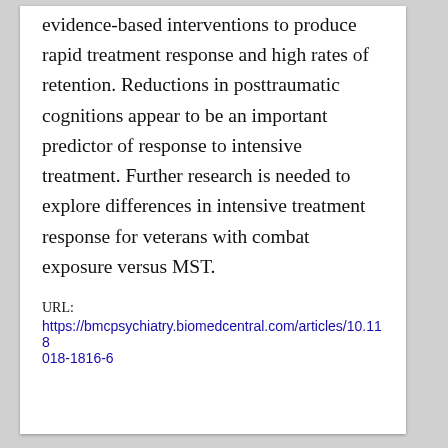evidence-based interventions to produce rapid treatment response and high rates of retention. Reductions in posttraumatic cognitions appear to be an important predictor of response to intensive treatment. Further research is needed to explore differences in intensive treatment response for veterans with combat exposure versus MST.
URL:
https://bmcpsychiatry.biomedcentral.com/articles/10.1186/s12888-018-1816-6